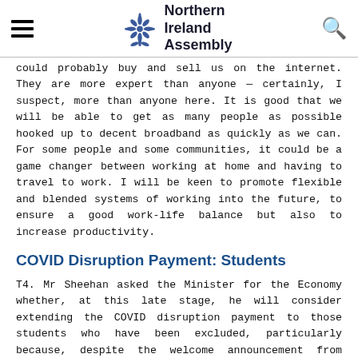Northern Ireland Assembly
could probably buy and sell us on the internet. They are more expert than anyone — certainly, I suspect, more than anyone here. It is good that we will be able to get as many people as possible hooked up to decent broadband as quickly as we can. For some people and some communities, it could be a game changer between working at home and having to travel to work. I will be keen to promote flexible and blended systems of working into the future, to ensure a good work-life balance but also to increase productivity.
COVID Disruption Payment: Students
T4. Mr Sheehan asked the Minister for the Economy whether, at this late stage, he will consider extending the COVID disruption payment to those students who have been excluded, particularly because, despite the welcome announcement from Queen's and Ulster University that they will provide additional grant support to low-income students, up to 75% of students have received no support at all, and it is deeply frustrating that so many students have been excluded. (AQT 1484/17-22)
▲ Top
3.30 pm